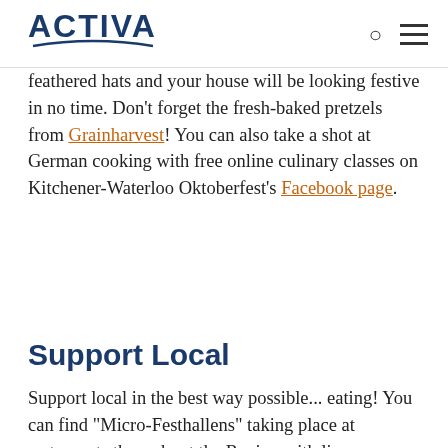ACTIVA
feathered hats and your house will be looking festive in no time. Don't forget the fresh-baked pretzels from Grainharvest! You can also take a shot at German cooking with free online culinary classes on Kitchener-Waterloo Oktoberfest's Facebook page.
Support Local
Support local in the best way possible... eating! You can find "Micro-Festhallens" taking place at restaurants throughout the Region with live